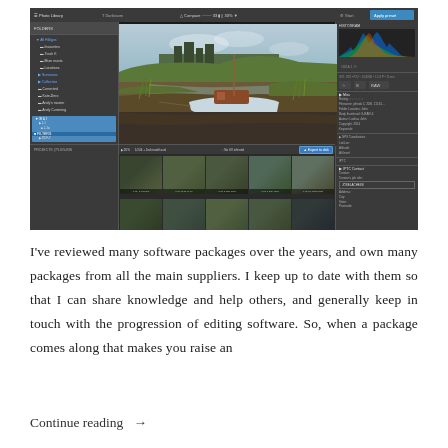[Figure (screenshot): Screenshot of Adobe Lightroom photo editing software showing a boat near a castle, with filmstrip of thumbnails below, left navigation panel, and right histogram/metadata panel.]
I've reviewed many software packages over the years, and own many packages from all the main suppliers. I keep up to date with them so that I can share knowledge and help others, and generally keep in touch with the progression of editing software. So, when a package comes along that makes you raise an
Continue reading →